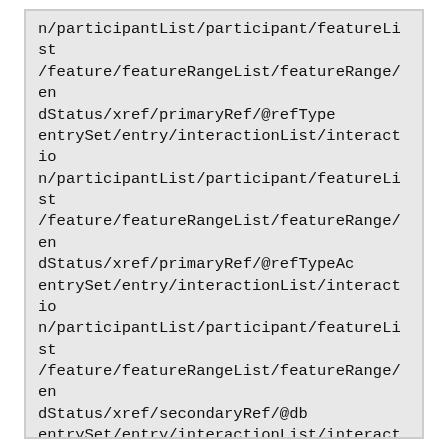n/participantList/participant/featureList/feature/featureRangeList/featureRange/endStatus/xref/primaryRef/@refType
entrySet/entry/interactionList/interaction/participantList/participant/featureList/feature/featureRangeList/featureRange/endStatus/xref/primaryRef/@refTypeAc
entrySet/entry/interactionList/interaction/participantList/participant/featureList/feature/featureRangeList/featureRange/endStatus/xref/secondaryRef/@db
entrySet/entry/interactionList/interaction/participantList/participant/featureList/feature/featureRangeList/featureRange/endStatus/xref/secondaryRef/@dbAc
entrySet/entry/interactionList/interaction/participantList/participant/featureList/feature/featureRangeList/featureRange/endStatus/xref/secondaryRef/@id
entrySet/entry/interactionList/interaction/participantList/participant/featureList/feature/featureRangeList/featureRange/endStatus/xref/secondaryRef/@refType